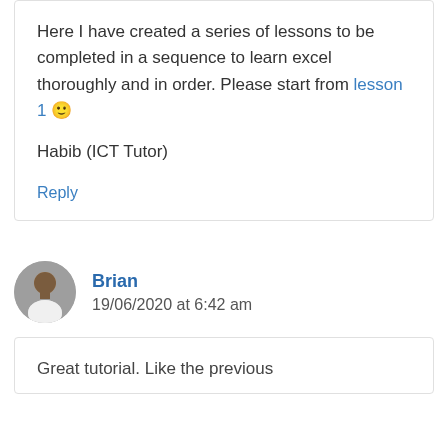Here I have created a series of lessons to be completed in a sequence to learn excel thoroughly and in order. Please start from lesson 1 🙂
Habib (ICT Tutor)
Reply
Brian
19/06/2020 at 6:42 am
Great tutorial. Like the previous